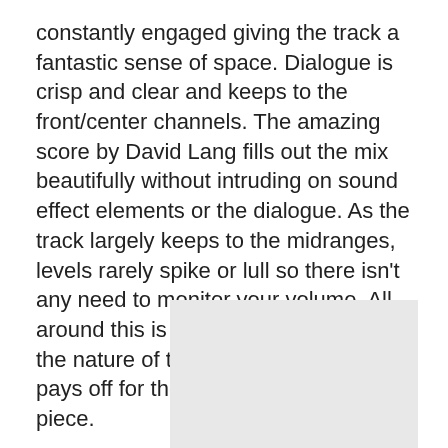constantly engaged giving the track a fantastic sense of space. Dialogue is crisp and clear and keeps to the front/center channels. The amazing score by David Lang fills out the mix beautifully without intruding on sound effect elements or the dialogue. As the track largely keeps to the midranges, levels rarely spike or lull so there isn't any need to monitor your volume. All around this is a fantastic mix that fits the nature of the film perfectly and pays off for the final performance piece.
[Figure (photo): A light gray rectangular image placeholder at the bottom of the page.]